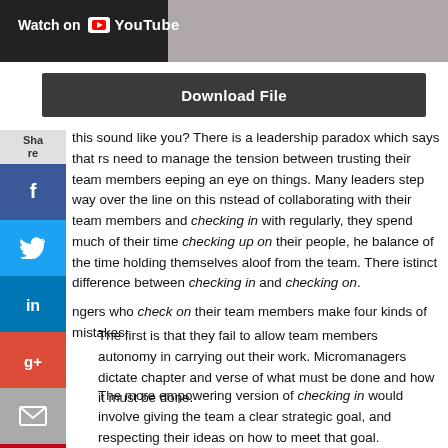[Figure (screenshot): YouTube video thumbnail banner with 'Watch on YouTube' text and play button icon, with a blurred person image on the right]
[Figure (other): Dark grey 'Download File' button bar]
this sound like you? There is a leadership paradox which says that rs need to manage the tension between trusting their team members eeping an eye on things. Many leaders step way over the line on this nstead of collaborating with their team members and checking in with regularly, they spend much of their time checking up on their people, he balance of the time holding themselves aloof from the team. There istinct difference between checking in and checking on. ngers who check on their team members make four kinds of mistakes:
The first is that they fail to allow team members autonomy in carrying out their work. Micromanagers dictate chapter and verse of what must be done and how it must be done.
The more empowering version of checking in would involve giving the team a clear strategic goal, and respecting their ideas on how to meet that goal.